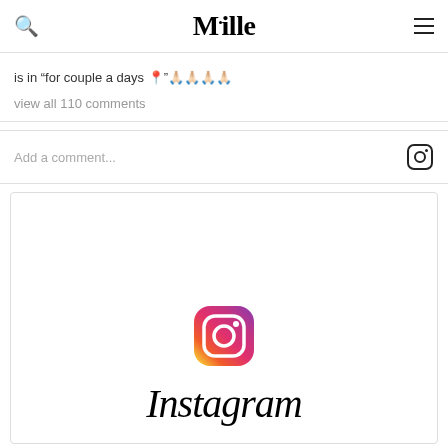Mille
is in “for couple a days 📍"🙏🏻🙏🏻🙏🏻🙏🏻”
view all 110 comments
Add a comment...
[Figure (logo): Instagram color logo with gradient camera icon and Instagram wordmark in script font]